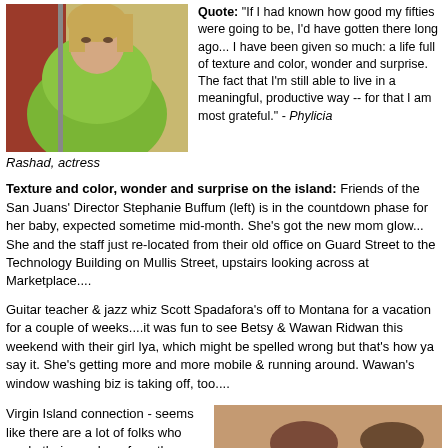[Figure (photo): Woman in green/lime knit sweater, partial face visible, standing outdoors near red building]
Quote: "If I had known how good my fifties were going to be, I'd have gotten there long ago... I have been given so much: a life full of texture and color, wonder and surprise. The fact that I'm still able to live in a meaningful, productive way -- for that I am most grateful." - Phylicia Rashad, actress
Rashad, actress
Texture and color, wonder and surprise on the island: Friends of the San Juans' Director Stephanie Buffum (left) is in the countdown phase for her baby, expected sometime mid-month. She's got the new mom glow... She and the staff just re-located from their old office on Guard Street to the Technology Building on Mullis Street, upstairs looking across at Marketplace....
Guitar teacher & jazz whiz Scott Spadafora's off to Montana for a vacation for a couple of weeks....it was fun to see Betsy & Wawan Ridwan this weekend with their girl Iya, which might be spelled wrong but that's how ya say it. She's getting more and more mobile & running around. Wawan's window washing biz is taking off, too....
Virgin Island connection - seems like there are a lot of folks who made their way here from there. Kim at the Chamber of Commerce office used to live there, as did Robbie from the Sweet Retreat. Maybe that's where they got their sunny
[Figure (photo): A woman and man posing together indoors, woman has short curly brown hair and glasses, man has brown hair and beard, both smiling]